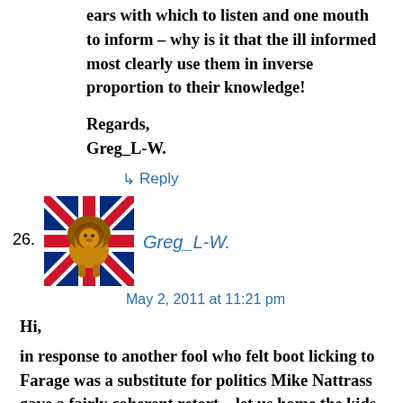ears with which to listen and one mouth to inform – why is it that the ill informed most clearly use them in inverse proportion to their knowledge!
Regards,
Greg_L-W.
↳ Reply
26. Greg_L-W.
May 2, 2011 at 11:21 pm
Hi,
in response to another fool who felt boot licking to Farage was a substitute for politics Mike Nattrass gave a fairly coherent retort – let us home the kids in UKIP have the intelligence to understand the posting:
To: ukipmep@hotmail.co.uk
CC: